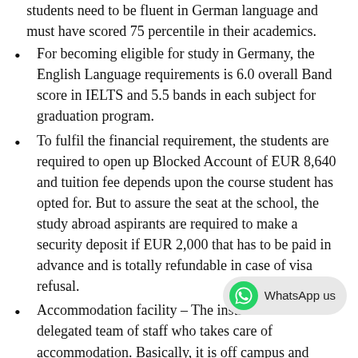...students need to be fluent in German language and must have scored 75 percentile in their academics.
For becoming eligible for study in Germany, the English Language requirements is 6.0 overall Band score in IELTS and 5.5 bands in each subject for graduation program.
To fulfil the financial requirement, the students are required to open up Blocked Account of EUR 8,640 and tuition fee depends upon the course student has opted for. But to assure the seat at the school, the study abroad aspirants are required to make a security deposit if EUR 2,000 that has to be paid in advance and is totally refundable in case of visa refusal.
Accommodation facility – The institution has a delegated team of staff who takes care of accommodation. Basically, it is off campus and ...